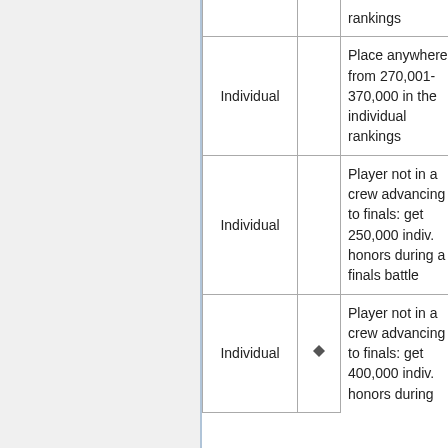| Type |  | Description | Reward |
| --- | --- | --- | --- |
|  |  | rankings |  |
| Individual |  | Place anywhere from 270,001-370,000 in the individual rankings | Valo... |
| Individual |  | Player not in a crew advancing to finals: get 250,000 indiv. honors during a finals battle | Tok... |
| Individual | ◆ | Player not in a crew advancing to finals: get 400,000 indiv. honors during | Valo... |